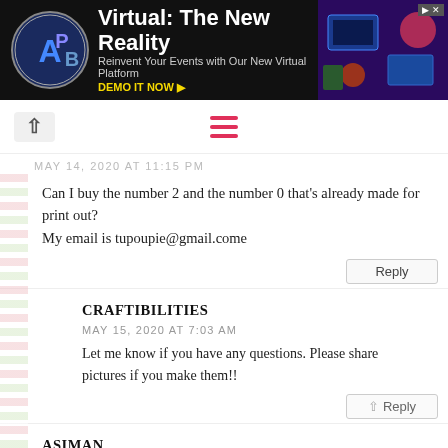[Figure (screenshot): APB advertisement banner: Virtual: The New Reality - Reinvent Your Events with Our New Virtual Platform. DEMO IT NOW.]
Navigation bar with back arrow and hamburger menu
MAY 14, 2020 AT 11:15 PM
Can I buy the number 2 and the number 0 that's already made for print out?
My email is tupoupie@gmail.come
Reply
CRAFTIBILITIES
MAY 15, 2020 AT 7:03 AM
Let me know if you have any questions. Please share pictures if you make them!!
Reply
ASIMAN
MAY 15, 2020 AT 8:53 AM